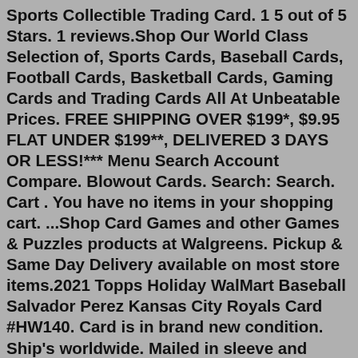Sports Collectible Trading Card. 1 5 out of 5 Stars. 1 reviews.Shop Our World Class Selection of, Sports Cards, Baseball Cards, Football Cards, Basketball Cards, Gaming Cards and Trading Cards All At Unbeatable Prices. FREE SHIPPING OVER $199*, $9.95 FLAT UNDER $199**, DELIVERED 3 DAYS OR LESS!*** Menu Search Account Compare. Blowout Cards. Search: Search. Cart . You have no items in your shopping cart. ...Shop Card Games and other Games & Puzzles products at Walgreens. Pickup & Same Day Delivery available on most store items.2021 Topps Holiday WalMart Baseball Salvador Perez Kansas City Royals Card #HW140. Card is in brand new condition. Ship's worldwide. Mailed in sleeve and toploader for extra protection. If you have any other inquiries or specifications please feel free to message me. Make your own pro-style baseball card complete with statistics, bio data and trivia. It's never been easier to make your own baseball card than with Starr Cards top-rated Baseball Card Maker app for the iPhone, iPad and iPod Touch. Never before have